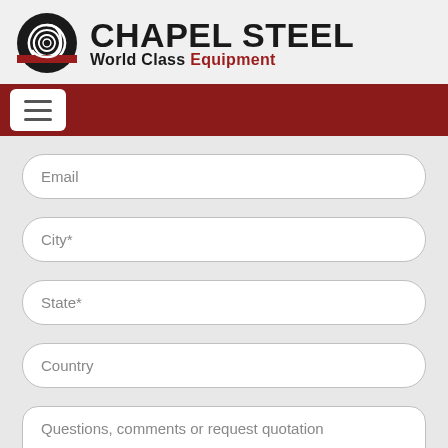[Figure (logo): Chapel Steel logo with circular spiral emblem and text 'CHAPEL STEEL World Class Equipment']
[Figure (screenshot): Navigation bar with hamburger menu button on dark red background]
Email
City*
State*
Country
Questions, comments or request quotation